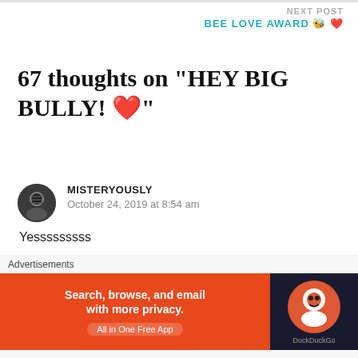NEXT POST
BEE LOVE AWARD 🐝 ❤️
67 thoughts on “HEY BIG BULLY! ❤️”
MISTERYOUSLY
October 24, 2019 at 8:54 am
Yesssssssss
Liked by 6 people
Reply →
Advertisements
[Figure (screenshot): DuckDuckGo advertisement banner: Search, browse, and email with more privacy. All in One Free App]